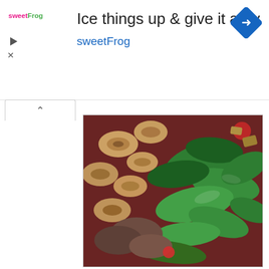[Figure (screenshot): sweetFrog advertisement banner with logo, headline 'Ice things up & give it a try', subtext 'sweetFrog', play and close buttons, and a blue diamond navigation icon]
[Figure (photo): Close-up photo of Balsamic Chicken, Spinach and Tomato Pasta Salad with tortellini pasta, fresh spinach leaves, tomatoes, mushrooms, and croutons on a dark red plate]
Balsamic Chicken, Spinach and Tomato Pasta Salad So good!  I loved that there was a subtle balsamic flavor, and that the salad was not dripping in dressing.  I topped my serving with a bit of feta, which was a great flavor punch!  Easy to assemble, and keeps well.  This salad will be making its way into my lunch box this short work week!
Lets wrap up this post with the two recipes in this weeks Pinterest Challenge